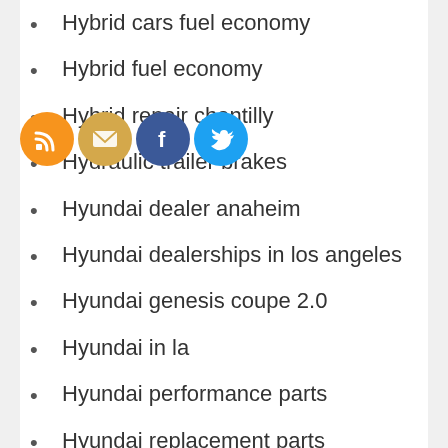Hybrid cars fuel economy
Hybrid fuel economy
Hybrid repair chantilly
Hydraulic trailer brakes
Hyundai dealer anaheim
Hyundai dealerships in los angeles
Hyundai genesis coupe 2.0
Hyundai in la
Hyundai performance parts
Hyundai replacement parts
Ignition interlock
Ignition interlock az